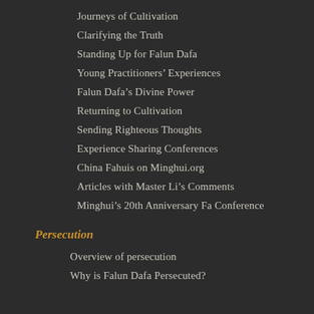Journeys of Cultivation
Clarifying the Truth
Standing Up for Falun Dafa
Young Practitioners' Experiences
Falun Dafa's Divine Power
Returning to Cultivation
Sending Righteous Thoughts
Experience Sharing Conferences
China Fahuis on Minghui.org
Articles with Master Li's Comments
Minghui's 20th Anniversary Fa Conference
Persecution
Overview of persecution
Why is Falun Dafa Persecuted?